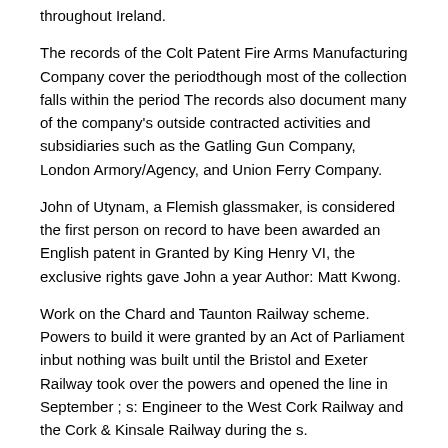throughout Ireland.
The records of the Colt Patent Fire Arms Manufacturing Company cover the periodthough most of the collection falls within the period The records also document many of the company's outside contracted activities and subsidiaries such as the Gatling Gun Company, London Armory/Agency, and Union Ferry Company.
John of Utynam, a Flemish glassmaker, is considered the first person on record to have been awarded an English patent in Granted by King Henry VI, the exclusive rights gave John a year Author: Matt Kwong.
Work on the Chard and Taunton Railway scheme. Powers to build it were granted by an Act of Parliament inbut nothing was built until the Bristol and Exeter Railway took over the powers and opened the line in September ; s: Engineer to the West Cork Railway and the Cork & Kinsale Railway during the s.
Technically, a patent is granted to the inventors, but in practice, the corporation that employs the inventors owns the invention, the application and the resulting patents, if any, through an. Looking